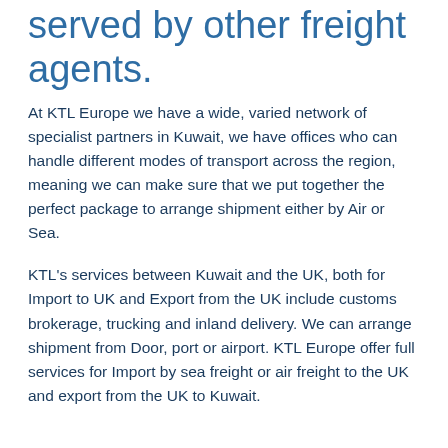served by other freight agents.
At KTL Europe we have a wide, varied network of specialist partners in Kuwait, we have offices who can handle different modes of transport across the region, meaning we can make sure that we put together the perfect package to arrange shipment either by Air or Sea.
KTL's services between Kuwait and the UK, both for Import to UK and Export from the UK include customs brokerage, trucking and inland delivery. We can arrange shipment from Door, port or airport. KTL Europe offer full services for Import by sea freight or air freight to the UK and export from the UK to Kuwait.